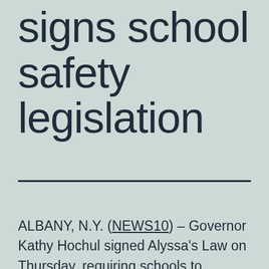signs school safety legislation
ALBANY, N.Y. (NEWS10) – Governor Kathy Hochul signed Alyssa's Law on Thursday, requiring schools to consider the use of silent